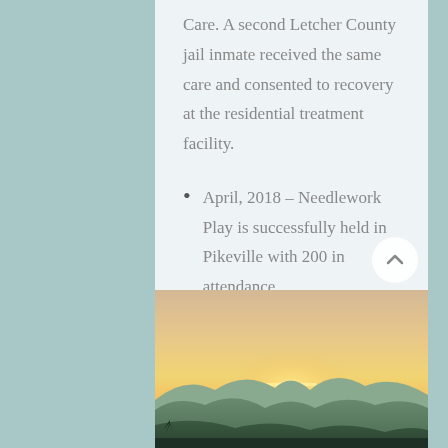Care. A second Letcher County jail inmate received the same care and consented to recovery at the residential treatment facility.
April, 2018 – Needlework Play is successfully held in Pikeville with 200 in attendance.
June, 2018 – HEAL
[Figure (photo): Sunset landscape photo showing mountains and glowing orange sky with sun setting on the horizon]